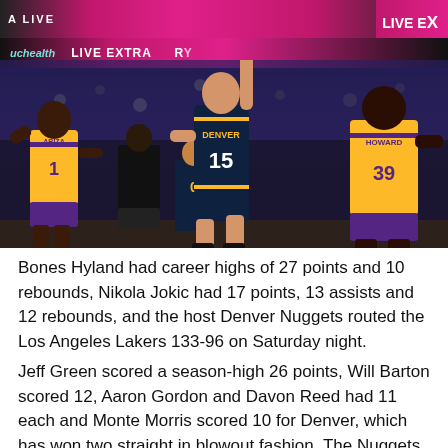[Figure (photo): NBA basketball game photo showing Denver Nuggets player #15 (Nikola Jokic) jumping with arm raised, surrounded by Los Angeles Lakers players #1 (Ariza) on left and #39 (Howard) on right, plus Nuggets #0 in background, in a dark arena with pink/magenta scoreboard banners reading 'LIVE EXTRA' and 'uchealth' visible]
Bones Hyland had career highs of 27 points and 10 rebounds, Nikola Jokic had 17 points, 13 assists and 12 rebounds, and the host Denver Nuggets routed the Los Angeles Lakers 133-96 on Saturday night.
Jeff Green scored a season-high 26 points, Will Barton scored 12, Aaron Gordon and Davon Reed had 11 each and Monte Morris scored 10 for Denver, which has won two straight in blowout fashion. The Nuggets beat the Portland